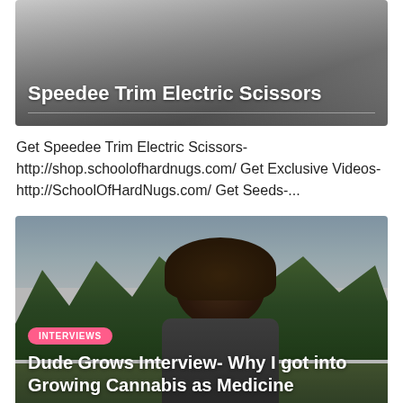[Figure (photo): Thumbnail image showing Speedee Trim Electric Scissors product on a table, with semi-transparent overlay and title text]
Get Speedee Trim Electric Scissors- http://shop.schoolofhardnugs.com/ Get Exclusive Videos- http://SchoolOfHardNugs.com/ Get Seeds-...
[Figure (photo): Video thumbnail showing a man with curly hair and sunglasses outdoors with trees and mountains in background, labeled INTERVIEWS with title Dude Grows Interview- Why I got into Growing Cannabis as Medicine]